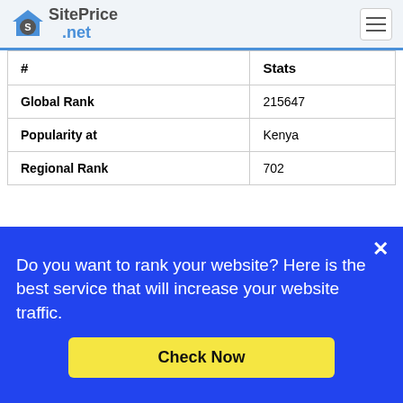SitePrice.net
| # | Stats |
| --- | --- |
| Global Rank | 215647 |
| Popularity at | Kenya |
| Regional Rank | 702 |
Traffic Rank
Do you want to rank your website? Here is the best service that will increase your website traffic.